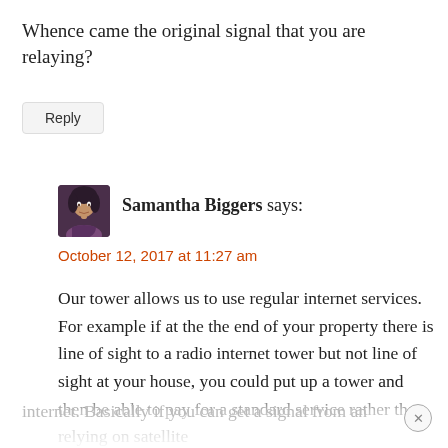Whence came the original signal that you are relaying?
Reply
Samantha Biggers says:
October 12, 2017 at 11:27 am
Our tower allows us to use regular internet services. For example if at the the end of your property there is line of sight to a radio internet tower but not line of sight at your house, you could put up a tower and then be able to pay for a standard service rather than relying on satellite internet. Basically if you can get a signal from an
[Figure (photo): Small avatar photo of Samantha Biggers, a woman with dark hair, shown from shoulders up.]